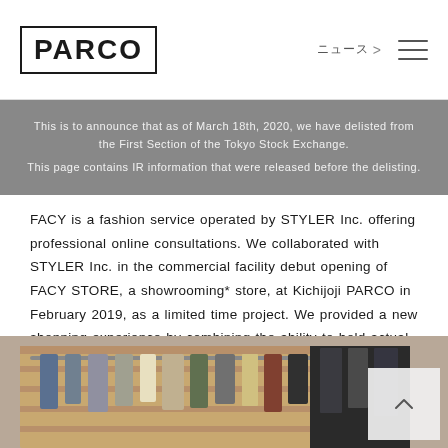PARCO | ニュース > (navigation)
This is to announce that as of March 18th, 2020, we have delisted from the First Section of the Tokyo Stock Exchange. This page contains IR information that were released before the delisting.
FACY is a fashion service operated by STYLER Inc. offering professional online consultations. We collaborated with STYLER Inc. in the commercial facility debut opening of FACY STORE, a showrooming* store, at Kichijoji PARCO in February 2019, as a limited time project. We provided a new shopping experience by combining the ability to hold actual products, which can only be experienced at stores, with online services.
*Showrooming refers to checking a product in a physical store before purchasing it online.
[Figure (photo): Interior photo of FACY STORE at Kichijoji PARCO showing clothing racks with garments displayed]